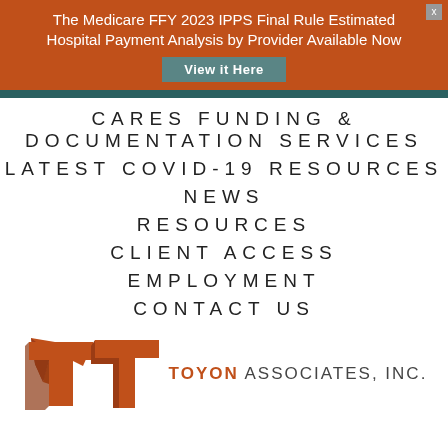The Medicare FFY 2023 IPPS Final Rule Estimated Hospital Payment Analysis by Provider Available Now
View it Here
CARES FUNDING & DOCUMENTATION SERVICES
LATEST COVID-19 RESOURCES
NEWS
RESOURCES
CLIENT ACCESS
EMPLOYMENT
CONTACT US
[Figure (logo): Toyon Associates, Inc. logo with orange T-shape graphic and text TOYON ASSOCIATES, INC.]